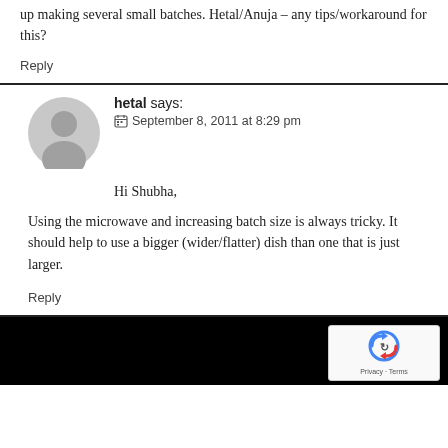up making several small batches. Hetal/Anuja – any tips/workaround for this?
Reply
hetal says:
September 8, 2011 at 8:29 pm
Hi Shubha,
Using the microwave and increasing batch size is always tricky. It should help to use a bigger (wider/flatter) dish than one that is just larger.
Reply
[Figure (logo): reCAPTCHA logo with arrows, Privacy and Terms text]
Privacy · Terms